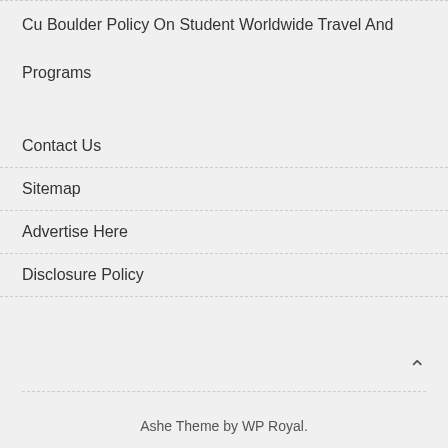Cu Boulder Policy On Student Worldwide Travel And Programs
Contact Us
Sitemap
Advertise Here
Disclosure Policy
Ashe Theme by WP Royal.